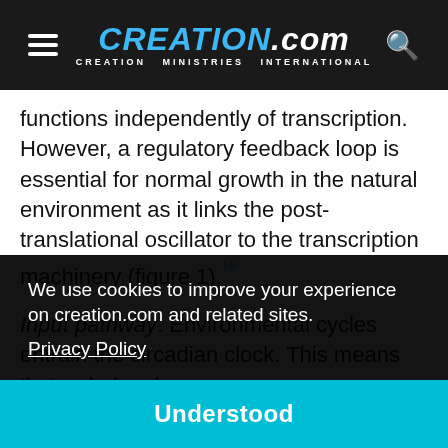CREATION.com — CREATION MINISTRIES INTERNATIONAL
functions independently of transcription. However, a regulatory feedback loop is essential for normal growth in the natural environment as it links the post-translational oscillator to the transcription machinery (figure 1).18
Input pathway. Environmental cycles entrain the circadian clock. This means that a dark pulse
…uous …ed …tikA)
We use cookies to improve your experience on creation.com and related sites. Privacy Policy
Understood
Primary output pathway. The expression of the